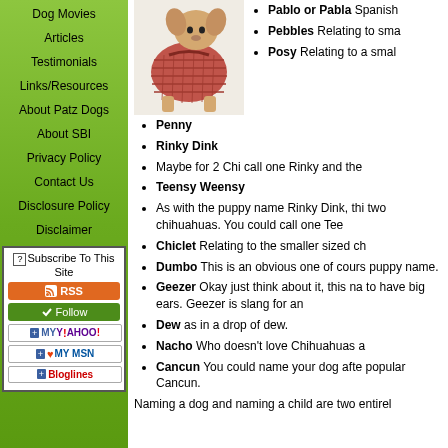Dog Movies
Articles
Testimonials
Links/Resources
About Patz Dogs
About SBI
Privacy Policy
Contact Us
Disclosure Policy
Disclaimer
[Figure (photo): Dog wearing a knitted sweater/outfit, sitting]
Pablo or Pabla Spanish...
Pebbles Relating to sma...
Posy Relating to a smal...
Penny
Rinky Dink
Maybe for 2 Chi call one Rinky and the...
Teensy Weensy
As with the puppy name Rinky Dink, thi... two chihuahuas. You could call one Tee...
Chiclet Relating to the smaller sized ch...
Dumbo This is an obvious one of cours... puppy name.
Geezer Okay just think about it, this na... to have big ears. Geezer is slang for an...
Dew as in a drop of dew.
Nacho Who doesn't love Chihuahuas a...
Cancun You could name your dog afte... popular Cancun.
Naming a dog and naming a child are two entirel...